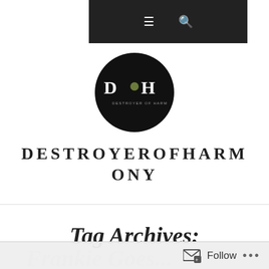Navigation bar with hamburger menu and search icon
[Figure (logo): Circular black logo with DOH text and 'DESTROYER OF HARMONY' subtitle in the center]
DESTROYEROFHARMONY
Tag Archives:
Frankie Goes...
Follow ...